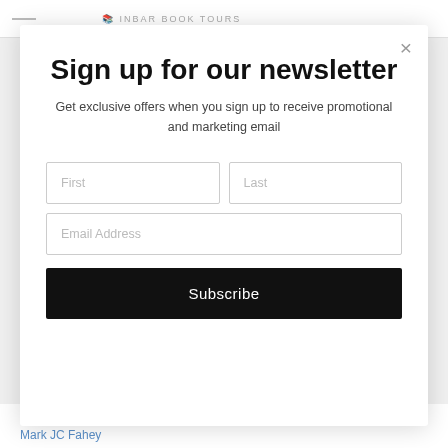[Figure (screenshot): Website header with hamburger menu icon and partial logo for a book tours website]
Sign up for our newsletter
Get exclusive offers when you sign up to receive promotional and marketing email
First
Last
Email Address
Subscribe
Marita & Mimina Meza
Mark JC Fahey